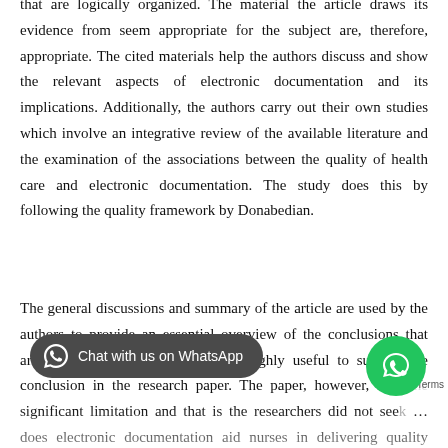that are logically organized. The material the article draws its evidence from seem appropriate for the subject are, therefore, appropriate. The cited materials help the authors discuss and show the relevant aspects of electronic documentation and its implications. Additionally, the authors carry out their own studies which involve an integrative review of the available literature and the examination of the associations between the quality of health care and electronic documentation. The study does this by following the quality framework by Donabedian.
The general discussions and summary of the article are used by the authors to provide an essential overview of the conclusions that article draws. They also could be highly useful to support the conclusion in the research paper. The paper, however, had one significant limitation and that is the researchers did not seek … does electronic documentation aid nurses in delivering quality health … at the study did not address the question of …